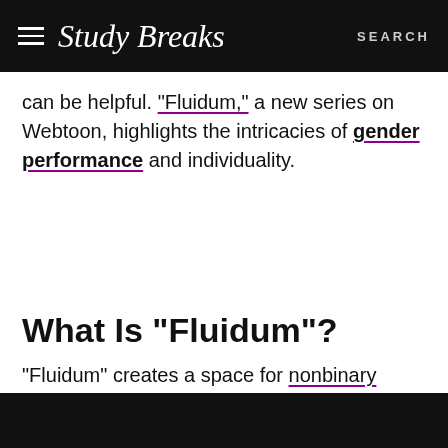Study Breaks | SEARCH
can be helpful. “Fluidum,” a new series on Webtoon, highlights the intricacies of gender performance and individuality.
What Is “Fluidum”?
“Fluidum” creates a space for nonbinary identity and gender fluidity. It explores the idea of